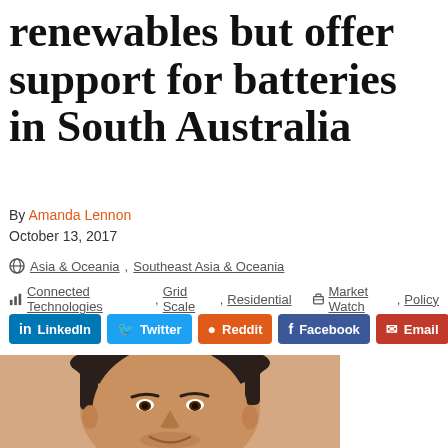renewables but offer support for batteries in South Australia
By Amanda Lennon
October 13, 2017
Asia & Oceania, Southeast Asia & Oceania
Connected Technologies, Grid Scale, Residential — Market Watch, Policy
LinkedIn Twitter Reddit Facebook Email
[Figure (photo): Headshot of a man with dark hair, partial face visible from forehead to chin]